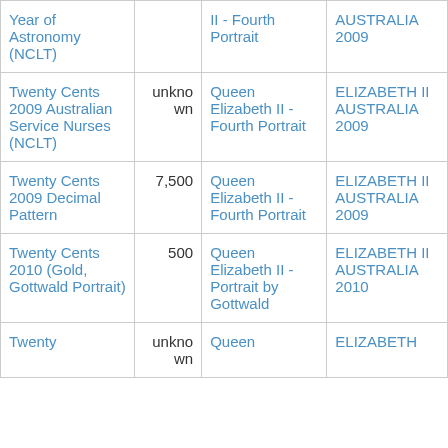| Year of Astronomy (NCLT) |  | II - Fourth Portrait | AUSTRALIA 2009 |
| Twenty Cents 2009 Australian Service Nurses (NCLT) | unknown | Queen Elizabeth II - Fourth Portrait | ELIZABETH II AUSTRALIA 2009 |
| Twenty Cents 2009 Decimal Pattern | 7,500 | Queen Elizabeth II - Fourth Portrait | ELIZABETH II AUSTRALIA 2009 |
| Twenty Cents 2010 (Gold, Gottwald Portrait) | 500 | Queen Elizabeth II - Portrait by Gottwald | ELIZABETH II AUSTRALIA 2010 |
| Twenty | unknown | Queen | ELIZABETH |